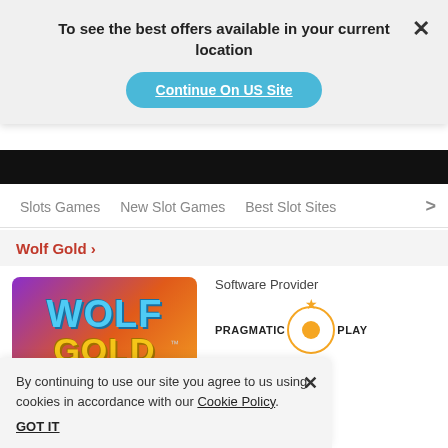To see the best offers available in your current location
Continue On US Site
Slots Games   New Slot Games   Best Slot Sites   >
Wolf Gold >
[Figure (screenshot): Wolf Gold slot game logo image with purple/orange gradient background showing WOLF in blue text and GOLD in yellow text with TM mark]
Software Provider
[Figure (logo): Pragmatic Play logo with orange circle and crown]
By continuing to use our site you agree to us using cookies in accordance with our Cookie Policy.
GOT IT
Maximum win